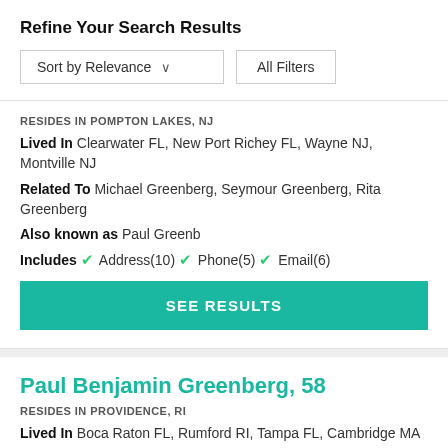Refine Your Search Results
Sort by Relevance   All Filters
RESIDES IN POMPTON LAKES, NJ
Lived In Clearwater FL, New Port Richey FL, Wayne NJ, Montville NJ
Related To Michael Greenberg, Seymour Greenberg, Rita Greenberg
Also known as Paul Greenb
Includes ✓ Address(10) ✓ Phone(5) ✓ Email(6)
SEE RESULTS
Paul Benjamin Greenberg, 58
RESIDES IN PROVIDENCE, RI
Lived In Boca Raton FL, Rumford RI, Tampa FL, Cambridge MA